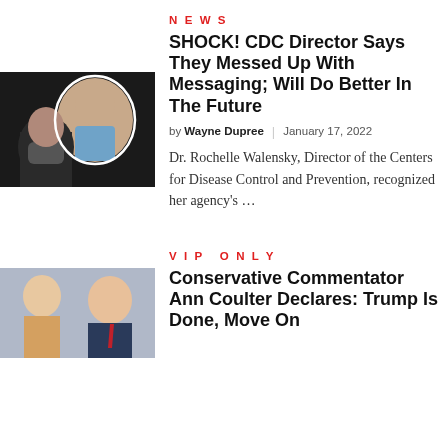NEWS
[Figure (photo): Photo of Dr. Rochelle Walensky and another person wearing a face mask, in a formal setting]
SHOCK! CDC Director Says They Messed Up With Messaging; Will Do Better In The Future
by Wayne Dupree | January 17, 2022
Dr. Rochelle Walensky, Director of the Centers for Disease Control and Prevention, recognized her agency's …
VIP ONLY
[Figure (photo): Photo of Ann Coulter and Donald Trump]
Conservative Commentator Ann Coulter Declares: Trump Is Done, Move On